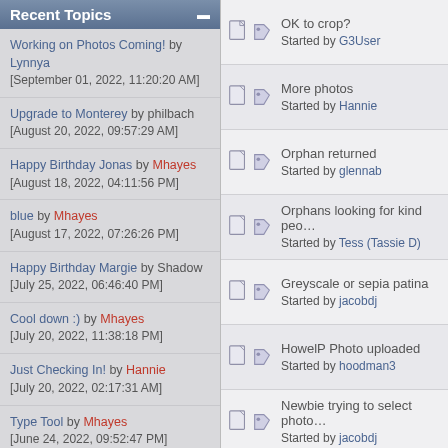Recent Topics
Working on Photos Coming! by Lynnya [September 01, 2022, 11:20:20 AM]
Upgrade to Monterey by philbach [August 20, 2022, 09:57:29 AM]
Happy Birthday Jonas by Mhayes [August 18, 2022, 04:11:56 PM]
blue by Mhayes [August 17, 2022, 07:26:26 PM]
Happy Birthday Margie by Shadow [July 25, 2022, 06:46:40 PM]
Cool down :) by Mhayes [July 20, 2022, 11:38:18 PM]
Just Checking In! by Hannie [July 20, 2022, 02:17:31 AM]
Type Tool by Mhayes [June 24, 2022, 09:52:47 PM]
Helping Andover, KS by Candice [May 12, 2022, 05:04:22 PM]
OK to crop? Started by G3User
More photos Started by Hannie
Orphan returned Started by glennab
Orphans looking for kind peo… Started by Tess (Tassie D)
Greyscale or sepia patina Started by jacobdj
HowelP Photo uploaded Started by hoodman3
Newbie trying to select photo… Started by jacobdj
More photos Started by …